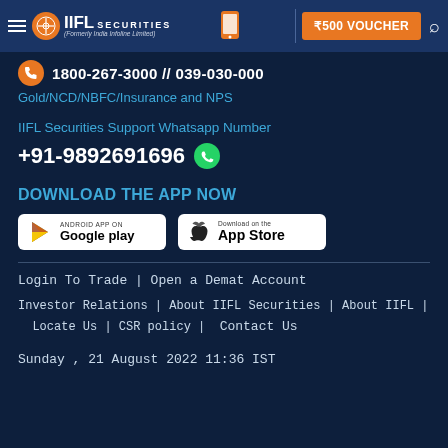IIFL Securities (Formerly India Infoline Limited) | ₹500 VOUCHER
1800-267-3000 // 039-030-000
Gold/NCD/NBFC/Insurance and NPS
IIFL Securities Support Whatsapp Number
+91-9892691696
DOWNLOAD THE APP NOW
[Figure (screenshot): Google Play and App Store download buttons]
Login To Trade | Open a Demat Account
Investor Relations | About IIFL Securities | About IIFL | Locate Us | CSR policy | Contact Us
Sunday , 21 August 2022 11:36 IST